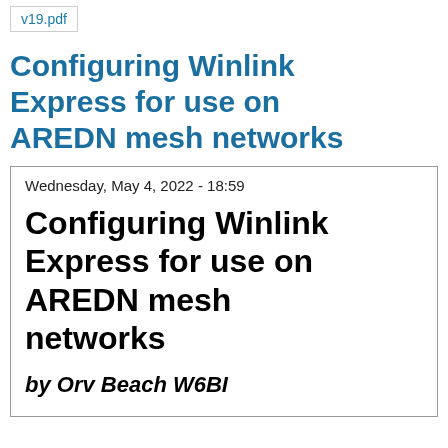v19.pdf
Configuring Winlink Express for use on AREDN mesh networks
Wednesday, May 4, 2022 - 18:59
Configuring Winlink Express for use on AREDN mesh networks
by Orv Beach W6BI